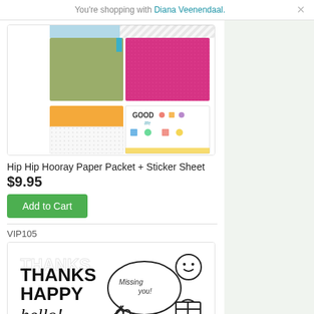You're shopping with Diana Veenendaal.
[Figure (photo): Hip Hip Hooray Paper Packet product photo showing colorful patterned papers including green, pink glitter, orange, and a sticker sheet with cute illustrations]
Hip Hip Hooray Paper Packet + Sticker Sheet
$9.95
Add to Cart
VIP105
[Figure (photo): Stamp set product photo showing THANKS, HAPPY, hello! text stamps and speech bubbles with Missing you, a smiley face, heart, and gift box illustrations]